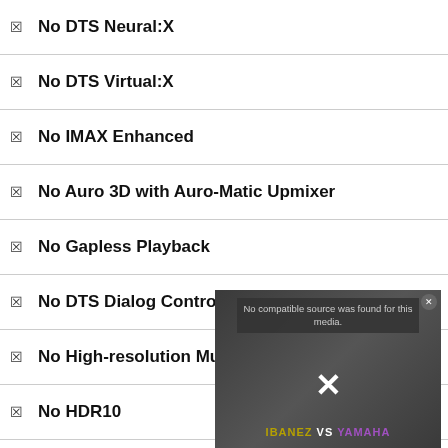No DTS Neural:X
No DTS Virtual:X
No IMAX Enhanced
No Auro 3D with Auro-Matic Upmixer
No Gapless Playback
No DTS Dialog Control
No High-resolution Music Enhancer
No HDR10
No HDR10+
No BT.2020 color space
[Figure (screenshot): Video player overlay showing 'No compatible source was found for this media.' message with an X mark, over a dark background showing two guitarists with IBANEZ VS YAMAHA text branding.]